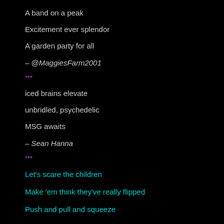A band on a peak
Excitement ever splendor
A garden party for all
– @MaggiesFarm2001
***
iced brains elevate
unbridled, psychedelic
MSG awaits
– Sean Hanna
***
Let's scare the children
Make 'em think they've really flipped
Push and pull and squeeze
– Tony Gray
***